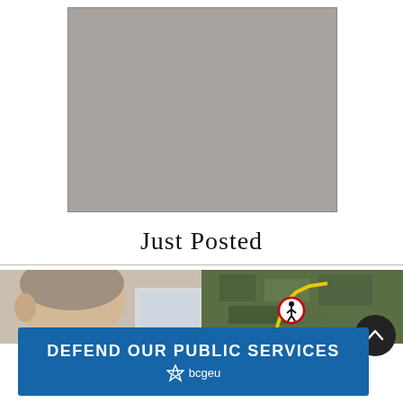[Figure (photo): Gray placeholder rectangle representing an image that has not loaded]
Just Posted
[Figure (photo): Partial photo of a person (side profile showing ear and hair) near a car]
[Figure (map): Aerial/satellite map view with a pedestrian crossing sign circle and yellow route highlighted]
[Figure (infographic): Blue banner advertisement reading DEFEND OUR PUBLIC SERVICES with bcgeu logo]